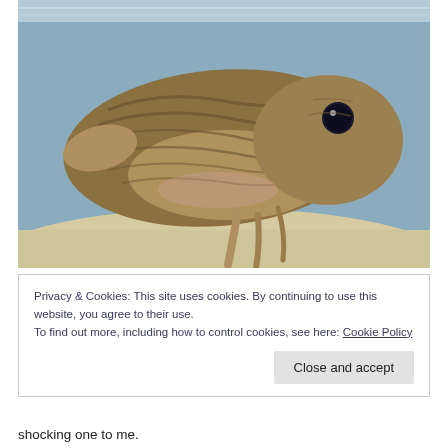[Figure (photo): An underwater photograph of a cuttlefish viewed from the side, showing brown and cream striped/patterned body, a large dark eye, and tentacles hanging below, with sandy bottom and blue water visible.]
Privacy & Cookies: This site uses cookies. By continuing to use this website, you agree to their use.
To find out more, including how to control cookies, see here: Cookie Policy
shocking one to me.